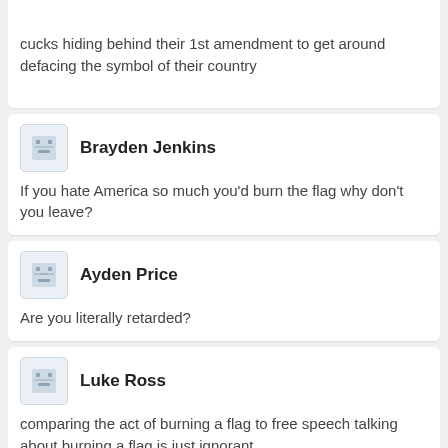cucks hiding behind their 1st amendment to get around defacing the symbol of their country
Brayden Jenkins
If you hate America so much you'd burn the flag why don't you leave?
Ayden Price
Are you literally retarded?
Luke Ross
comparing the act of burning a flag to free speech talking about burning a flag is just ignorant
Ryan Morgan
> Uses free media for self expression